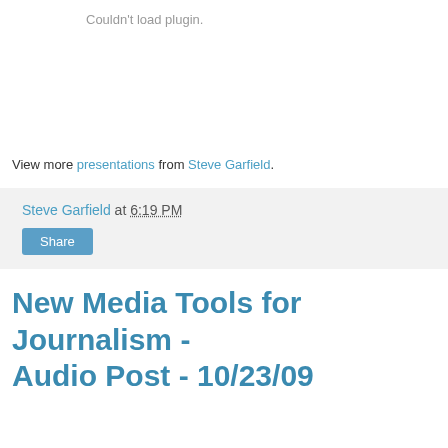Couldn't load plugin.
View more presentations from Steve Garfield.
Steve Garfield at 6:19 PM
Share
New Media Tools for Journalism - Audio Post - 10/23/09